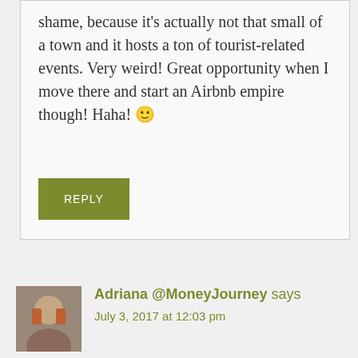shame, because it's actually not that small of a town and it hosts a ton of tourist-related events. Very weird! Great opportunity when I move there and start an Airbnb empire though! Haha! 🙂
REPLY
Adriana @MoneyJourney says
July 3, 2017 at 12:03 pm
I've never had a problem with spiders. I've actually played with them when I was little 😀 hahah! Wasps, on the other hand, yikes!